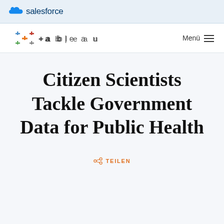salesforce
tableau | Menü
Citizen Scientists Tackle Government Data for Public Health
TEILEN